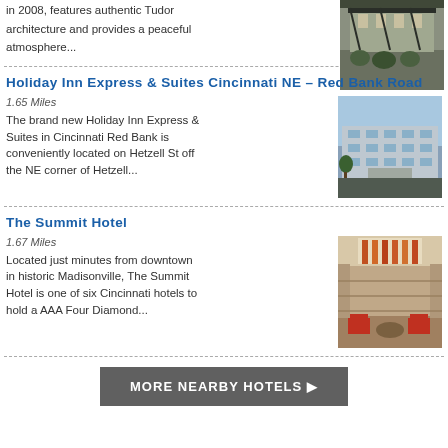in 2008, features authentic Tudor architecture and provides a peaceful atmosphere...
[Figure (photo): Tudor architecture hotel exterior photo]
Holiday Inn Express & Suites Cincinnati NE - Red Bank Road
1.65 Miles
The brand new Holiday Inn Express & Suites in Cincinnati Red Bank is conveniently located on Hetzell St off the NE corner of Hetzell...
[Figure (photo): Holiday Inn Express & Suites Cincinnati NE exterior photo]
The Summit Hotel
1.67 Miles
Located just minutes from downtown in historic Madisonville, The Summit Hotel is one of six Cincinnati hotels to hold a AAA Four Diamond...
[Figure (photo): The Summit Hotel interior atrium photo]
MORE NEARBY HOTELS ▶